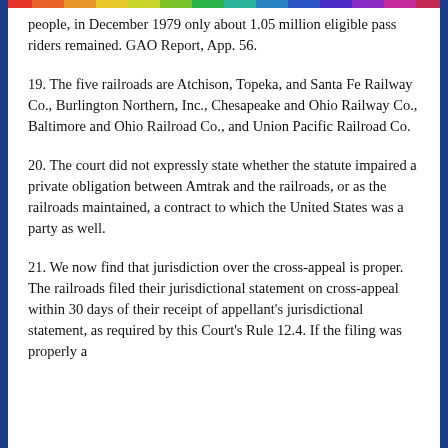people, in December 1979 only about 1.05 million eligible pass riders remained. GAO Report, App. 56.
19. The five railroads are Atchison, Topeka, and Santa Fe Railway Co., Burlington Northern, Inc., Chesapeake and Ohio Railway Co., Baltimore and Ohio Railroad Co., and Union Pacific Railroad Co.
20. The court did not expressly state whether the statute impaired a private obligation between Amtrak and the railroads, or as the railroads maintained, a contract to which the United States was a party as well.
21. We now find that jurisdiction over the cross-appeal is proper. The railroads filed their jurisdictional statement on cross-appeal within 30 days of their receipt of appellant's jurisdictional statement, as required by this Court's Rule 12.4. If the filing was properly a